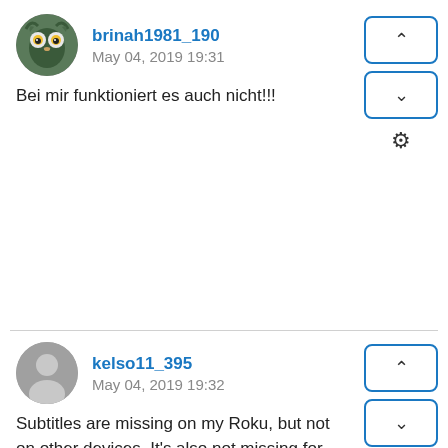brinah1981_190
May 04, 2019 19:31
Bei mir funktioniert es auch nicht!!!
kelso11_395
May 04, 2019 19:32
Subtitles are missing on my Roku, but not on other devices. It's also not missing for everything. It is showing on some dramas I've checked, just not for the one I'm watching.
artnov_511
May 04, 2019 19:33